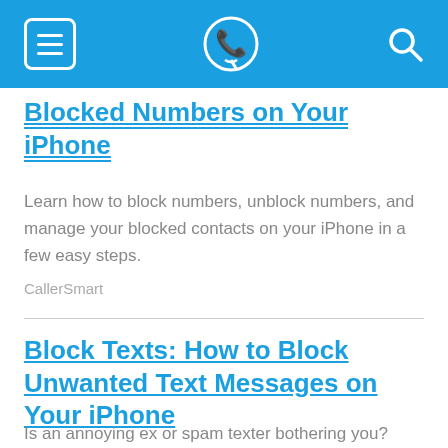CallerSmart navigation bar
Blocked Numbers on Your iPhone
Learn how to block numbers, unblock numbers, and manage your blocked contacts on your iPhone in a few easy steps.
CallerSmart
Block Texts: How to Block Unwanted Text Messages on Your iPhone
Is an annoying ex or spam texter bothering you? Find out how to block texts on your iPhone and report